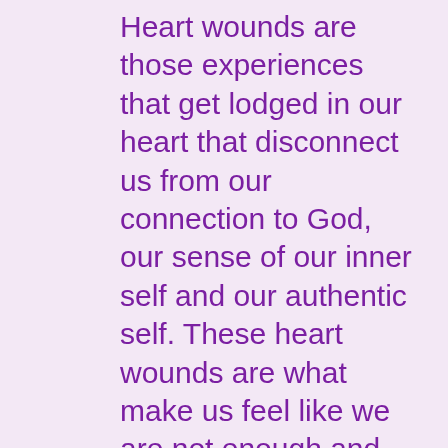Heart wounds are those experiences that get lodged in our heart that disconnect us from our connection to God, our sense of our inner self and our authentic self. These heart wounds are what make us feel like we are not enough and that we can't trust our own inner... read more